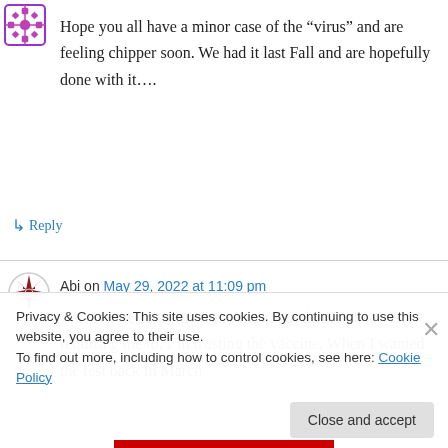[Figure (illustration): Purple decorative avatar icon (snowflake/quilt pattern) top left]
Hope you all have a minor case of the “virus” and are feeling chipper soon. We had it last Fall and are hopefully done with it….
↳ Reply
[Figure (illustration): Red/dark decorative avatar icon (snowflake/quilt pattern) for Abi]
Abi on May 29, 2022 at 11:09 pm
This is precisely why I don’t test, but then, nobody is requiring me to. I’m trusting the vaccine. When I wanted the test back in March
Privacy & Cookies: This site uses cookies. By continuing to use this website, you agree to their use.
To find out more, including how to control cookies, see here: Cookie Policy
Close and accept